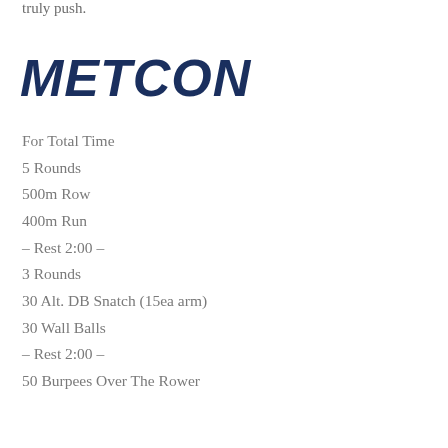truly push.
METCON
For Total Time
5 Rounds
500m Row
400m Run
– Rest 2:00 –
3 Rounds
30 Alt. DB Snatch (15ea arm)
30 Wall Balls
– Rest 2:00 –
50 Burpees Over The Rower